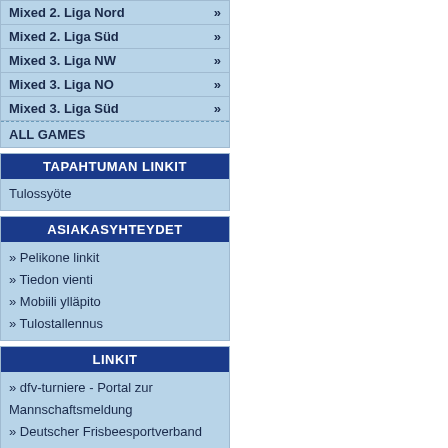Mixed 2. Liga Nord »
Mixed 2. Liga Süd »
Mixed 3. Liga NW »
Mixed 3. Liga NO »
Mixed 3. Liga Süd »
ALL GAMES
TAPAHTUMAN LINKIT
Tulossyöte
ASIAKASYHTEYDET
» Pelikone linkit
» Tiedon vienti
» Mobiili ylläpito
» Tulostallennus
LINKIT
» dfv-turniere - Portal zur Mannschaftsmeldung
» Deutscher Frisbeesportverband und Impressum
» Datenschutzerklärung
@ Administration
[Figure (logo): Deutscher Frisbeesport-Verband e.V. logo with circular disc icon]
Käyttöopas | Admin Help | Yksityisyydensuoja